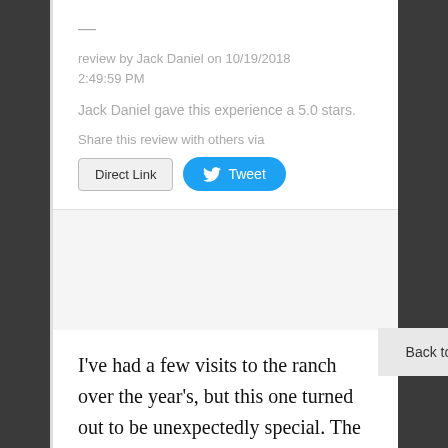—
review by Jack Daniel on 10/19/2018 2:49:59 PM
Jack Daniel gave this experience a 5.0 stars.
Share this review with others via
Direct Link   Tweet
I've had a few visits to the ranch over the year's, but this one turned out to be unexpectedly special. The reason for this was because of a young lady named Kaylah. I think from the moment we
Back to Top